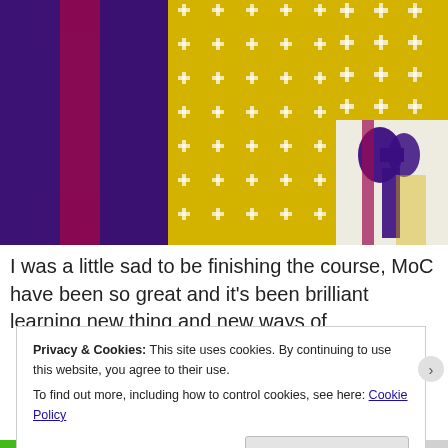[Figure (photo): Three photos of a colorful dress/costume featuring purple, magenta/red, and yellow fabric with white cross pattern. Left photo shows close-up of purple and red fabric panels. Center photo shows yellow fabric with white plus/cross pattern. Top right shows yellow cross-pattern fabric close-up. Bottom right shows a purple bow sash tied around the waist over yellow and red fabric.]
I was a little sad to be finishing the course, MoC have been so great and it's been brilliant learning new thing and new ways of
Privacy & Cookies: This site uses cookies. By continuing to use this website, you agree to their use.
To find out more, including how to control cookies, see here: Cookie Policy
Close and accept